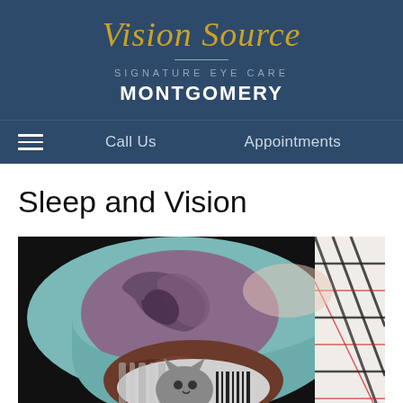[Figure (logo): Vision Source Signature Eye Care logo with gold script text on dark blue background]
MONTGOMERY
≡  Call Us    Appointments
Sleep and Vision
[Figure (photo): Person sleeping with a decorative sleep mask featuring a cartoon cat face, lying on a decorative pillow with baroque floral pattern in teal and purple. Person wearing plaid pajamas visible on right side.]